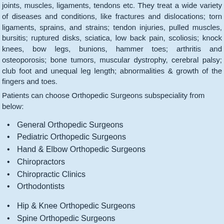joints, muscles, ligaments, tendons etc. They treat a wide variety of diseases and conditions, like fractures and dislocations; torn ligaments, sprains, and strains; tendon injuries, pulled muscles, bursitis; ruptured disks, sciatica, low back pain, scoliosis; knock knees, bow legs, bunions, hammer toes; arthritis and osteoporosis; bone tumors, muscular dystrophy, cerebral palsy; club foot and unequal leg length; abnormalities & growth of the fingers and toes.
Patients can choose Orthopedic Surgeons subspeciality from below:
General Orthopedic Surgeons
Pediatric Orthopedic Surgeons
Hand & Elbow Orthopedic Surgeons
Chiropractors
Chiropractic Clinics
Orthodontists
Hip & Knee Orthopedic Surgeons
Spine Orthopedic Surgeons
Foot & Ankle Orthopedic Surgeons
Physical Therapists
Physical Therapy Clinics
Physical Therapy Assistants